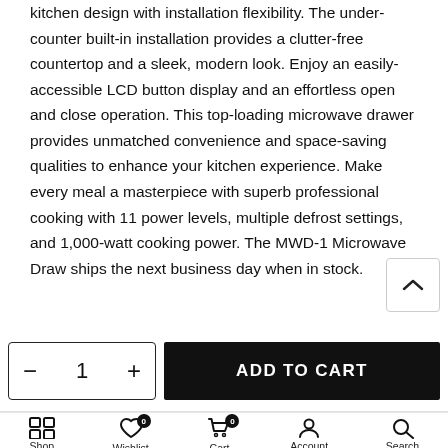kitchen design with installation flexibility. The under-counter built-in installation provides a clutter-free countertop and a sleek, modern look. Enjoy an easily-accessible LCD button display and an effortless open and close operation. This top-loading microwave drawer provides unmatched convenience and space-saving qualities to enhance your kitchen experience. Make every meal a masterpiece with superb professional cooking with 11 power levels, multiple defrost settings, and 1,000-watt cooking power. The MWD-1 Microwave Drawer ships the next business day when in stock.
− 1 +
ADD TO CART
Shop | Wishlist 0 | Cart 0 | Account | Search